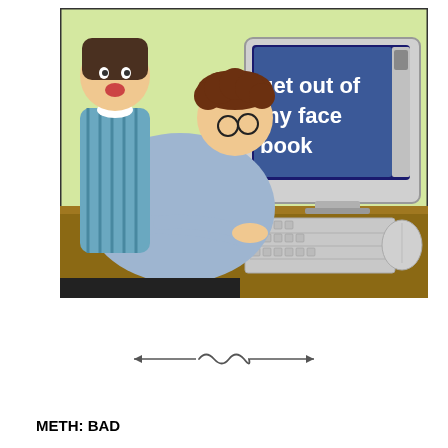[Figure (illustration): Bizarro comic strip cartoon showing a person with curly brown hair and glasses sitting at a computer desk typing on a keyboard. Another person in a blue striped shirt stands behind them looking at the monitor. The computer screen displays a large dark blue/navy rectangle with white bold text reading 'get out of my face book' — a pun on Facebook. A small robot figurine and a can/bottle are on the desk beside the monitor. A mouse is visible on the right. The word 'BIZARRO' appears vertically on the right edge of the panel.]
[Figure (illustration): Decorative divider ornament — two horizontal lines with a stylized cursive/scroll flourish in the center, resembling a small wave or infinity symbol.]
METH: BAD